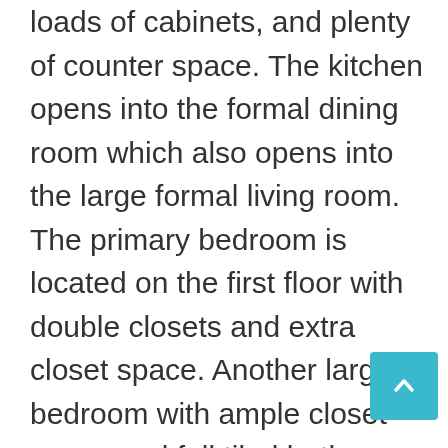loads of cabinets, and plenty of counter space. The kitchen opens into the formal dining room which also opens into the large formal living room. The primary bedroom is located on the first floor with double closets and extra closet space. Another large bedroom with ample closet space and full tiled bathroom are also located on this floor. Upstairs you will find two more good sized bedrooms one with extra space for an office, playroom, or sitting area. The other full bathroom with walk in shower is also located on this second floor. The full basement has the potential for a 5th bedroom, family room and laundry area with washer, dryer, utility sink, and large closet. The backyard has a brick patio perfect for all your